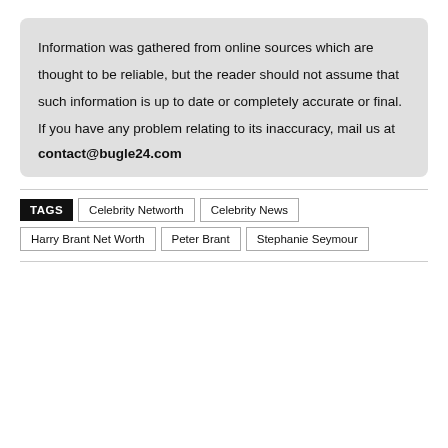Information was gathered from online sources which are thought to be reliable, but the reader should not assume that such information is up to date or completely accurate or final. If you have any problem relating to its inaccuracy, mail us at contact@bugle24.com
TAGS  Celebrity Networth  Celebrity News  Harry Brant Net Worth  Peter Brant  Stephanie Seymour